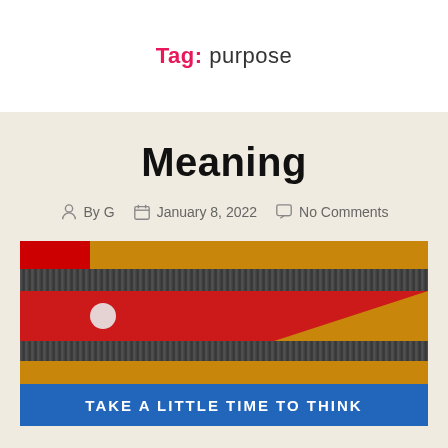Tag: purpose
Meaning
By G  January 8, 2022  No Comments
[Figure (photo): Photo of a colorful wooden bench or structure with red, yellow/wood-colored stripes, dark gravel strip, a white circular dot, and a blue banner at the bottom reading 'TAKE A LITTLE TIME TO THINK']